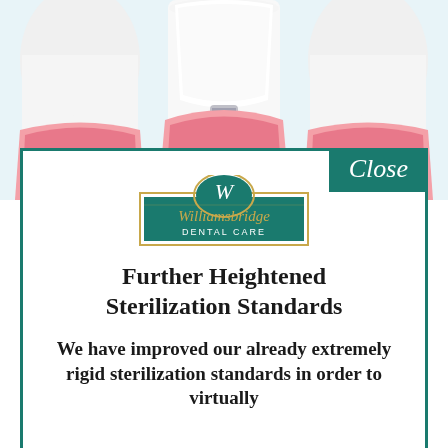[Figure (illustration): Dental illustration showing cross-section of teeth and dental implant with crown, pink gum tissue, and bone structure against light blue background]
[Figure (logo): Williamsbridge Dental Care logo: green badge with italic gold script 'Williamsbridge' and white serif 'DENTAL CARE' text, gold rectangular border, decorative arch top with W]
Further Heightened Sterilization Standards
We have improved our already extremely rigid sterilization standards in order to virtually